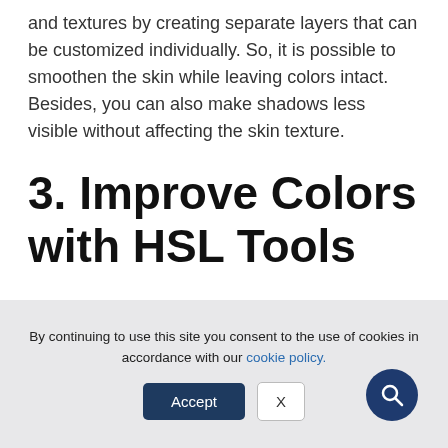and textures by creating separate layers that can be customized individually. So, it is possible to smoothen the skin while leaving colors intact. Besides, you can also make shadows less visible without affecting the skin texture.
3. Improve Colors with HSL Tools
[Figure (photo): Partial image strip visible at bottom of main content area]
By continuing to use this site you consent to the use of cookies in accordance with our cookie policy.